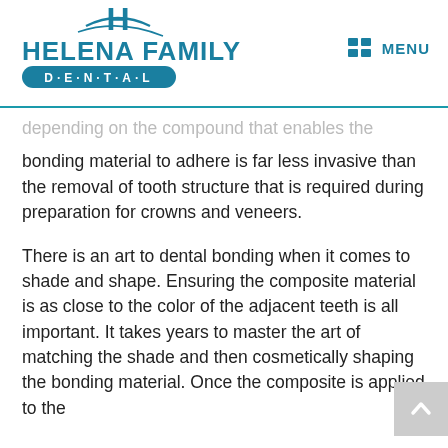Helena Family Dental — MENU
depending on the compound that enables the bonding material to adhere is far less invasive than the removal of tooth structure that is required during preparation for crowns and veneers.
There is an art to dental bonding when it comes to shade and shape. Ensuring the composite material is as close to the color of the adjacent teeth is all important. It takes years to master the art of matching the shade and then cosmetically shaping the bonding material. Once the composite is applied to the